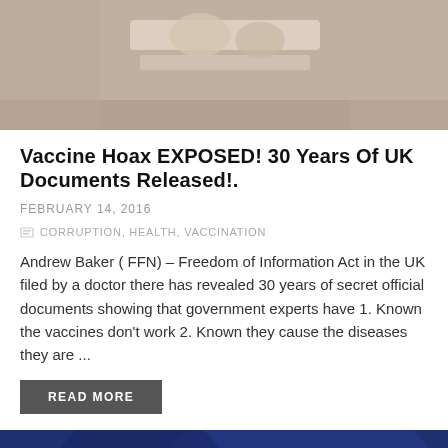[Figure (photo): Top portion of a photo showing hands, possibly related to vaccines or documents, with light background]
Vaccine Hoax EXPOSED! 30 Years Of UK Documents Released!.
FEBRUARY 14, 2016
CORRUPTION, HEALTH, VACCINATION
Andrew Baker ( FFN) – Freedom of Information Act in the UK filed by a doctor there has revealed 30 years of secret official documents showing that government experts have 1. Known the vaccines don't work 2. Known they cause the diseases they are ...
READ MORE
[Figure (photo): Photo of a woman (resembling Hillary Clinton) with hands raised, speaking against a dark blue background]